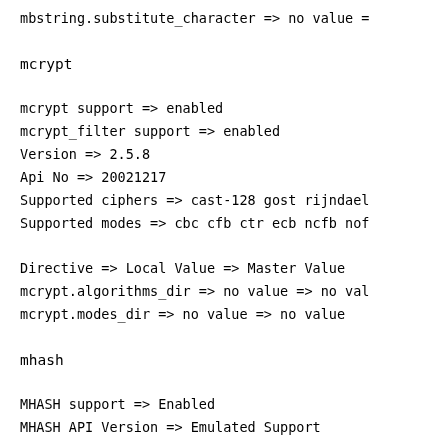mbstring.substitute_character => no value =
mcrypt
mcrypt support => enabled
mcrypt_filter support => enabled
Version => 2.5.8
Api No => 20021217
Supported ciphers => cast-128 gost rijndael
Supported modes => cbc cfb ctr ecb ncfb nof
Directive => Local Value => Master Value
mcrypt.algorithms_dir => no value => no val
mcrypt.modes_dir => no value => no value
mhash
MHASH support => Enabled
MHASH API Version => Emulated Support